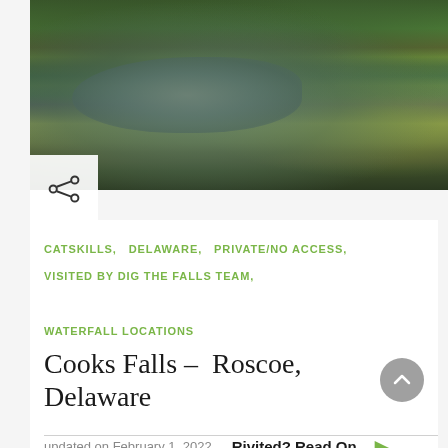[Figure (photo): Aerial/elevated view of a river winding through lush green vegetation and rocky banks, likely the Delaware River near Cooks Falls, Roscoe NY. Dense green trees and shrubs line the riverbanks; yellow wildflowers visible on right side.]
CATSKILLS,  DELAWARE,  PRIVATE/NO ACCESS,  VISITED BY DIG THE FALLS TEAM,  WATERFALL LOCATIONS
Cooks Falls – Roscoe, Delaware
updated on February 1, 2022   Rivited? Read On...